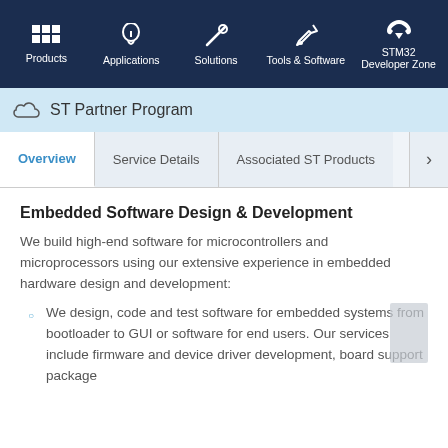Products | Applications | Solutions | Tools & Software | STM32 Developer Zone
ST Partner Program
Overview | Service Details | Associated ST Products
Embedded Software Design & Development
We build high-end software for microcontrollers and microprocessors using our extensive experience in embedded hardware design and development:
We design, code and test software for embedded systems from bootloader to GUI or software for end users. Our services include firmware and device driver development, board support package